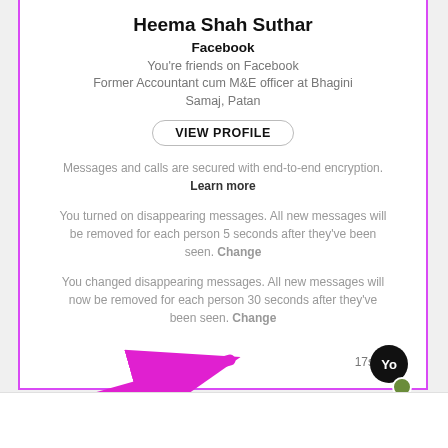Heema Shah Suthar
Facebook
You're friends on Facebook
Former Accountant cum M&E officer at Bhagini Samaj, Patan
VIEW PROFILE
Messages and calls are secured with end-to-end encryption. Learn more
You turned on disappearing messages. All new messages will be removed for each person 5 seconds after they've been seen. Change
You changed disappearing messages. All new messages will now be removed for each person 30 seconds after they've been seen. Change
[Figure (screenshot): A message bubble with timer showing 17s, a black avatar circle with 'Yo' text, a green badge, and a large magenta arrow pointing to the avatar from lower-left.]